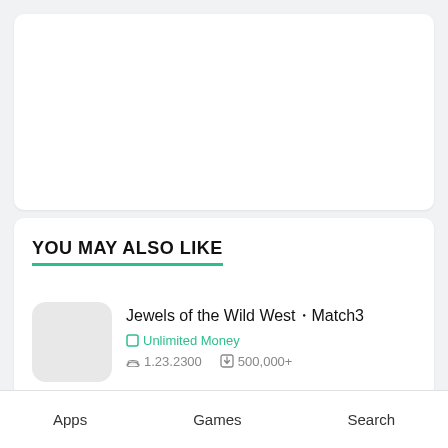YOU MAY ALSO LIKE
Jewels of the Wild West・Match3
Unlimited Money
1.23.2300   500,000+
Apps   Games   Search